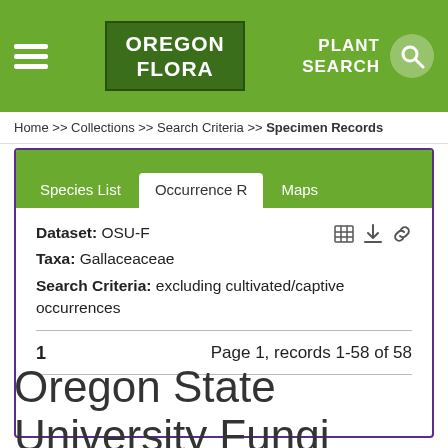OREGON FLORA | PLANT SEARCH
Home >> Collections >> Search Criteria >> Specimen Records
Species List | Occurrence R | Maps
Dataset: OSU-F
Taxa: Gallaceaceae
Search Criteria: excluding cultivated/captive occurrences
1   Page 1, records 1-58 of 58
Oregon State University Fungi